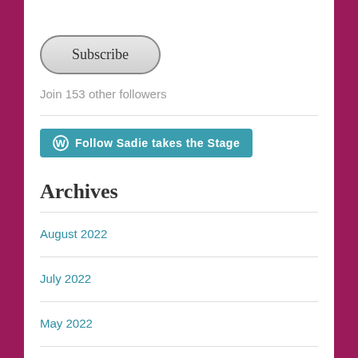[Figure (other): Subscribe button with rounded pill shape, grey gradient background]
Join 153 other followers
[Figure (other): Follow Sadie takes the Stage button with WordPress icon, teal/blue background]
Archives
August 2022
July 2022
May 2022
February 2022